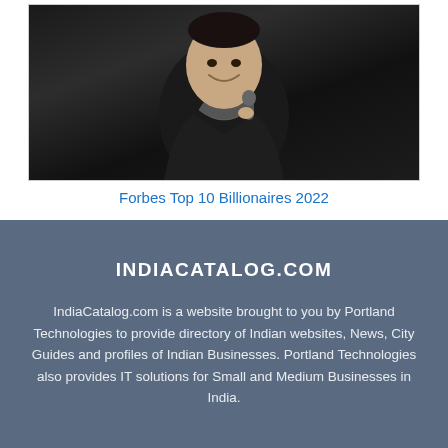[Figure (photo): Person smiling holding a microphone, wearing a dark jacket with patterned collar, against a dark background]
Forbes Top 10 Billionaires 2022
INDIACATALOG.COM
IndiaCatalog.com is a website brought to you by Portland Technologies to provide directory of Indian websites, News, City Guides and profiles of Indian Businesses. Portland Technologies also provides IT solutions for Small and Medium Businesses in India.